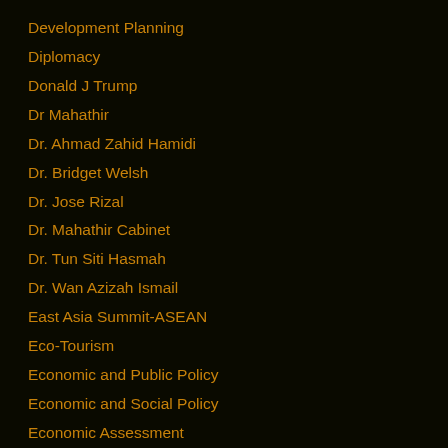Development Planning
Diplomacy
Donald J Trump
Dr Mahathir
Dr. Ahmad Zahid Hamidi
Dr. Bridget Welsh
Dr. Jose Rizal
Dr. Mahathir Cabinet
Dr. Tun Siti Hasmah
Dr. Wan Azizah Ismail
East Asia Summit-ASEAN
Eco-Tourism
Economic and Public Policy
Economic and Social Policy
Economic Assessment
Economic Development
Economic Integration
Economic Performance
Economic Planning
Economic Policy
Economic Transformation